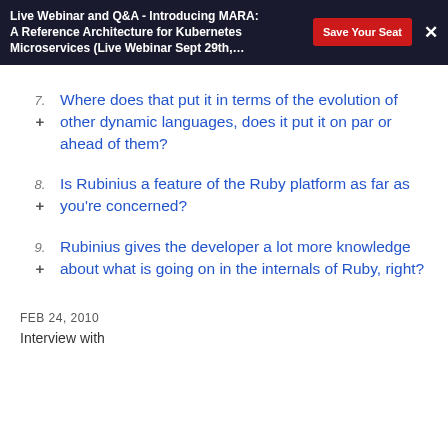Live Webinar and Q&A - Introducing MARA: A Reference Architecture for Kubernetes Microservices (Live Webinar Sept 29th,…
7. Where does that put it in terms of the evolution of other dynamic languages, does it put it on par or ahead of them?
8. Is Rubinius a feature of the Ruby platform as far as you're concerned?
9. Rubinius gives the developer a lot more knowledge about what is going on in the internals of Ruby, right?
FEB 24, 2010
Interview with